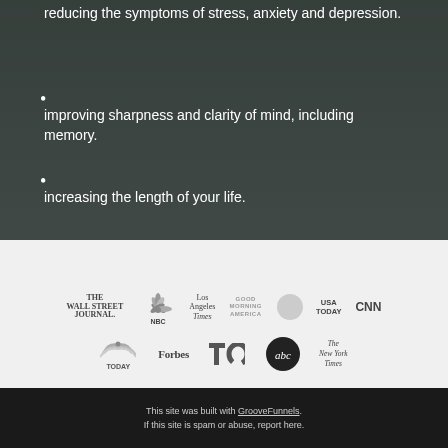reducing the symptoms of stress, anxiety and depression.
improving sharpness and clarity of mind, including memory.
increasing the length of your life.
[Figure (logo): Media outlet logos: The Wall Street Journal, NBC, Los Angeles Times, Good Morning America, USA TODAY, CNN, TODAY, Forbes, TechCrunch, abc, The New York Times]
This site was built with GrooveFunnels. If this site is spam or abuse, report here.